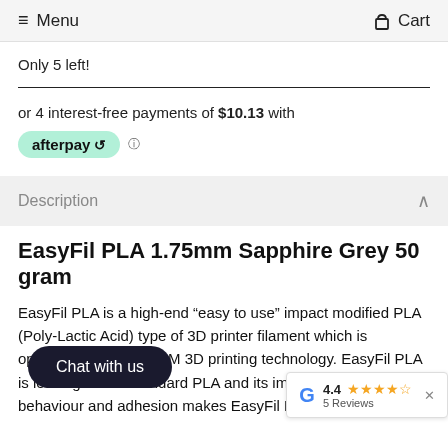Menu   Cart
Only 5 left!
or 4 interest-free payments of $10.13 with afterpay
Description
EasyFil PLA 1.75mm Sapphire Grey 50 gram
EasyFil PLA is a high-end "easy to use" impact modified PLA (Poly-Lactic Acid) type of 3D printer filament which is optimized for FFF / FDM 3D printing technology. EasyFil PLA is less rigid than standard PLA and its improved flowing behaviour and adhesion makes EasyFil PLA an extremel